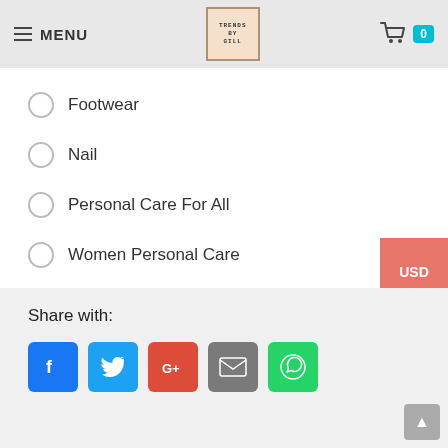MENU  TRENDS BY GILL  Cart 0
Footwear
Nail
Personal Care For All
Women Personal Care
Feminine Care
Men Personal Care
Share with:
[Figure (infographic): Social share buttons: Facebook, Twitter, Google+, Email, WhatsApp]
Scroll to top button